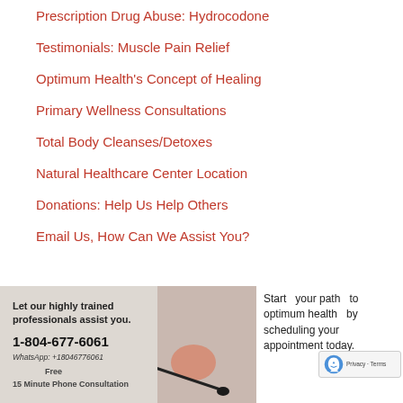Prescription Drug Abuse: Hydrocodone
Testimonials: Muscle Pain Relief
Optimum Health's Concept of Healing
Primary Wellness Consultations
Total Body Cleanses/Detoxes
Natural Healthcare Center Location
Donations: Help Us Help Others
Email Us, How Can We Assist You?
[Figure (photo): Advertisement image with a person wearing a headset microphone. Text reads: Let our highly trained professionals assist you. 1-804-677-6061 WhatsApp: +18046776061 Free 15 Minute Phone Consultation]
Start your path to optimum health by scheduling your appointment today.